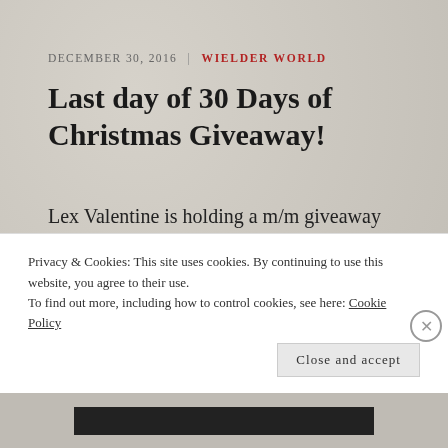DECEMBER 30, 2016  |  WIELDER WORLD
Last day of 30 Days of Christmas Giveaway!
Lex Valentine is holding a m/m giveaway and today is the last day. And guess whose book you'll find on the giveaway roster! Mine! Plus Emily Carrington and R. Phoenix! Go check it out for a
Privacy & Cookies: This site uses cookies. By continuing to use this website, you agree to their use.
To find out more, including how to control cookies, see here: Cookie Policy